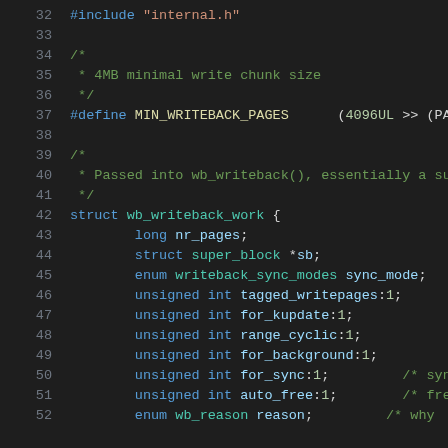Source code snippet (C), lines 32-52, showing #include, #define, and struct wb_writeback_work definition